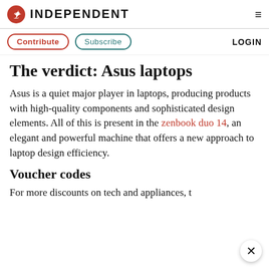INDEPENDENT
Contribute  Subscribe  LOGIN
The verdict: Asus laptops
Asus is a quiet major player in laptops, producing products with high-quality components and sophisticated design elements. All of this is present in the zenbook duo 14, an elegant and powerful machine that offers a new approach to laptop design efficiency.
Voucher codes
For more discounts on tech and appliances, t